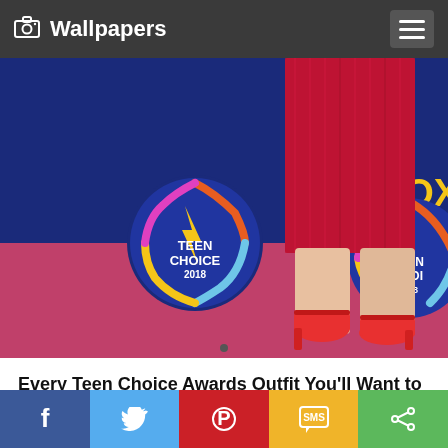Wallpapers
[Figure (photo): A person wearing a red sequined dress and red heels on a pink carpet at the Teen Choice Awards 2018 event, with FOX and Teen Choice Award logos visible on the step-and-repeat background banner.]
Every Teen Choice Awards Outfit You'll Want to Copy for Homecoming